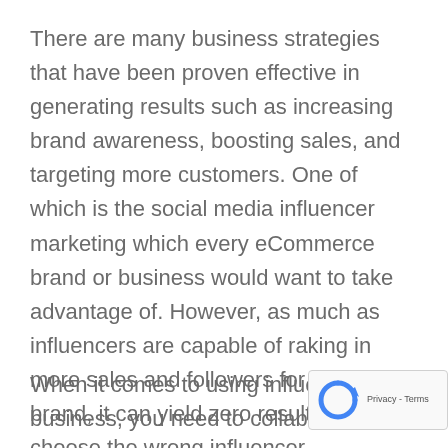There are many business strategies that have been proven effective in generating results such as increasing brand awareness, boosting sales, and targeting more customers. One of which is the social media influencer marketing which every eCommerce brand or business would want to take advantage of. However, as much as influencers are capable of raking in more sales and followers for your brand, it can yield zero results if you choose the wrong influencer.
When it comes to using influencer marketing f... business, you need to collaborate with someo...